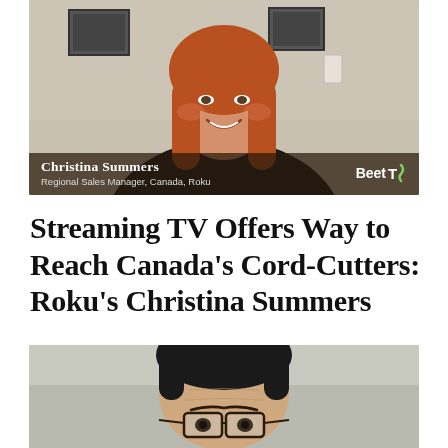[Figure (photo): Video thumbnail screenshot of Christina Summers, Regional Sales Manager, Canada, Roku, smiling during what appears to be a video call. She has long red hair and is wearing a dark blazer. The BeetTV logo is visible in the lower right corner of the thumbnail. A name bar at the bottom reads 'Christina Summers / Regional Sales Manager, Canada, Roku'.]
Streaming TV Offers Way to Reach Canada's Cord-Cutters: Roku's Christina Summers
[Figure (photo): Partial video thumbnail showing a man with dark hair and glasses, cropped to show only the top portion of his face/head against a light blurred background.]